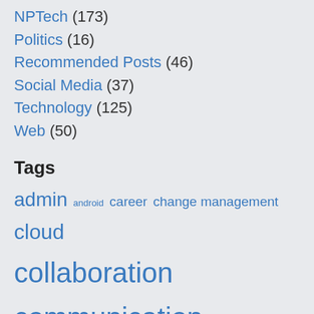NPTech (173)
Politics (16)
Recommended Posts (46)
Social Media (37)
Technology (125)
Web (50)
Tags
admin android career change management cloud collaboration communication crm data disruption drupal email environment Facebook google idealware Idealware Blog identity management management